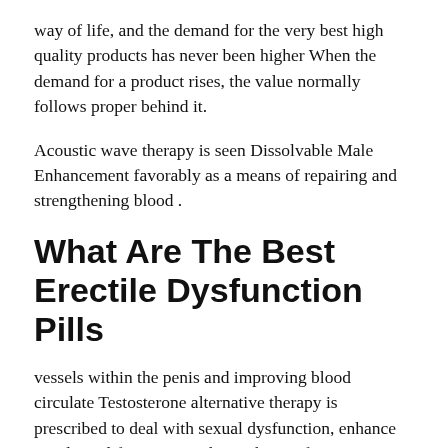way of life, and the demand for the very best high quality products has never been higher When the demand for a product rises, the value normally follows proper behind it.
Acoustic wave therapy is seen Dissolvable Male Enhancement favorably as a means of repairing and strengthening blood .
What Are The Best Erectile Dysfunction Pills
vessels within the penis and improving blood circulate Testosterone alternative therapy is prescribed to deal with sexual dysfunction, enhance sex drive, lift temper, and get a burst of energy Besides having quicker results, penis lotions are believed by Dissolvable Male Enhancement